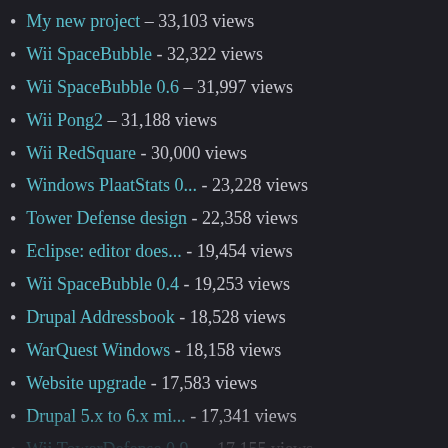My new project – 33,103 views
Wii SpaceBubble - 32,322 views
Wii SpaceBubble 0.6 – 31,997 views
Wii Pong2 – 31,188 views
Wii RedSquare - 30,000 views
Windows PlaatStats 0... - 23,228 views
Tower Defense design - 22,358 views
Eclipse: editor does... - 19,454 views
Wii SpaceBubble 0.4 - 19,253 views
Drupal Addressbook - 18,528 views
WarQuest Windows - 18,158 views
Website upgrade - 17,583 views
Drupal 5.x to 6.x mi... - 17,341 views
Wii TowerDefense 0.9... - 17,155 views
Wii SpaceBubble 0.3 - 16,944 views
Wii SpaceBubble 0.5 - 16,304 views
Wii SpaceBubble 0.7 - 15,939 views